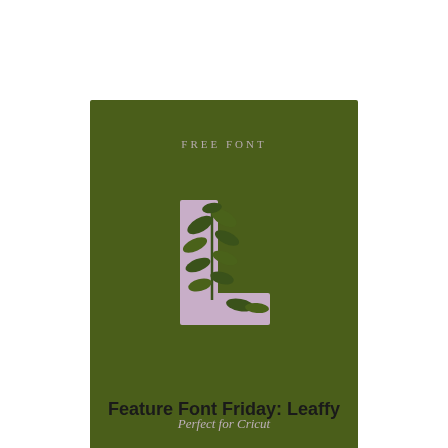[Figure (illustration): A dark olive green rectangular card/poster with the text 'FREE FONT' at the top in small light letters, a large decorative letter 'L' in the center rendered in lavender/light purple with dark green botanical leaf illustrations overlaid on it, and the italic text 'Perfect for Cricut' at the bottom in light lavender.]
Feature Font Friday: Leaffy